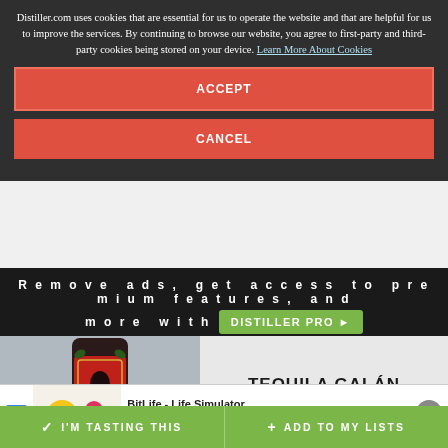Distiller.com uses cookies that are essential for us to operate the website and that are helpful for us to improve the services. By continuing to browse our website, you agree to first-party and third-party cookies being stored on your device. Learn More About Cookies
ACCEPT
CANCEL
Remove ads, get access to premium features, and more with DISTILLER PRO
[Figure (photo): Tequila Galán Reposado bottle with Day of the Dead themed label on red background]
TEQUILA GALÁN REPOSADO
Ad BitLife - Life Simulator Install!
I'M TASTING THIS
ADD TO MY LISTS